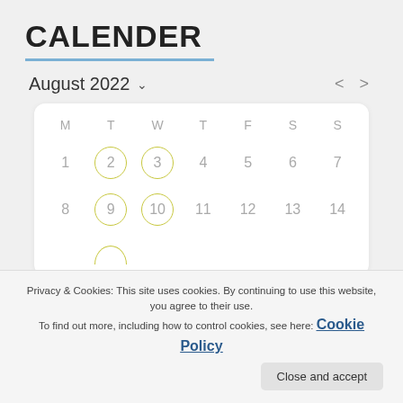CALENDER
August 2022
[Figure (other): Calendar widget showing August 2022 with dates 1-14 visible. Dates 2, 3, 9, 10, and a partial circle at the bottom row are highlighted with olive/yellow circles. Days of week headers: M T W T F S S.]
Privacy & Cookies: This site uses cookies. By continuing to use this website, you agree to their use.
To find out more, including how to control cookies, see here: Cookie Policy
Close and accept